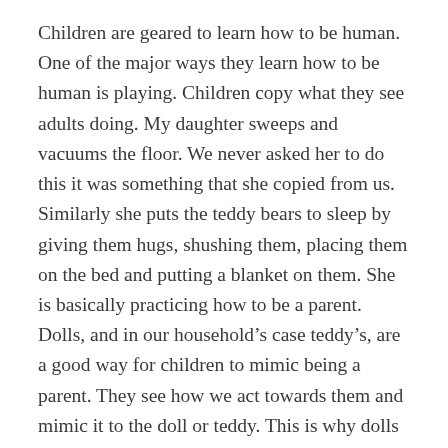Children are geared to learn how to be human. One of the major ways they learn how to be human is playing. Children copy what they see adults doing. My daughter sweeps and vacuums the floor. We never asked her to do this it was something that she copied from us. Similarly she puts the teddy bears to sleep by giving them hugs, shushing them, placing them on the bed and putting a blanket on them. She is basically practicing how to be a parent. Dolls, and in our household’s case teddy’s, are a good way for children to mimic being a parent. They see how we act towards them and mimic it to the doll or teddy. This is why dolls are a good toy. Children can practice being parents with them.
Given that dolls and teddies are a means for children to develop their caring and parenting skills why does our